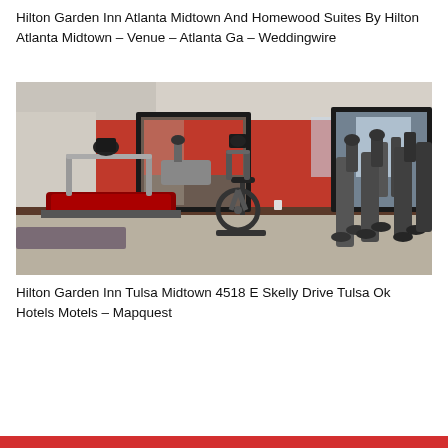Hilton Garden Inn Atlanta Midtown And Homewood Suites By Hilton Atlanta Midtown – Venue – Atlanta Ga – Weddingwire
[Figure (photo): Hotel fitness center/gym room with treadmills, stationary bike, and elliptical machines. Room has red accent wall, large black-framed mirrors, and gray carpet floor.]
Hilton Garden Inn Tulsa Midtown 4518 E Skelly Drive Tulsa Ok Hotels Motels – Mapquest